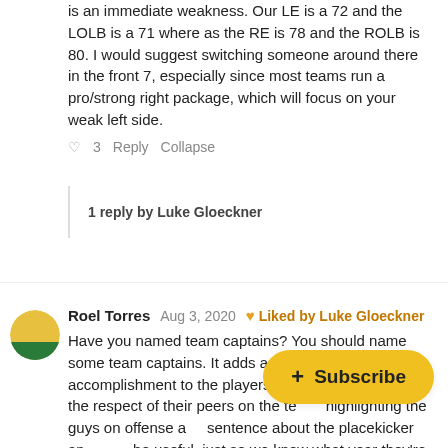is an immediate weakness. Our LE is a 72 and the LOLB is a 71 where as the RE is 78 and the ROLB is 80. I would suggest switching someone around there in the front 7, especially since most teams run a pro/strong right package, which will focus on your weak left side.
♡ 3  Reply  Collapse
1 reply by Luke Gloeckner
Roel Torres  Aug 3, 2020  ♥ Liked by Luke Gloeckner
Have you named team captains? You should name some team captains. It adds another layer of accomplishment to the players and tells us who gets the respect of their peers on the tea... highlighting the guys on offense a... sentence about the placekicker and... be useful, just so we know what year they're in, and their